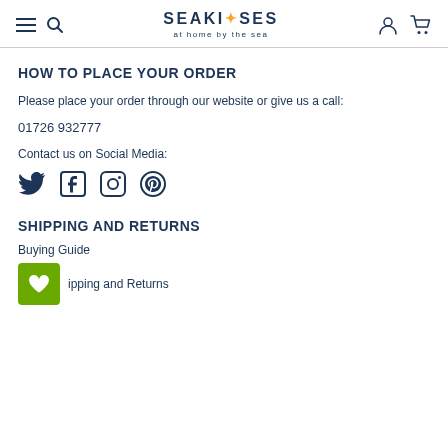SEAKISSES at home by the sea
HOW TO PLACE YOUR ORDER
Please place your order through our website or give us a call:
01726 932777
Contact us on Social Media:
[Figure (illustration): Social media icons: Twitter, Facebook, Instagram, Pinterest in dark navy color]
SHIPPING AND RETURNS
Buying Guide
Shipping and Returns